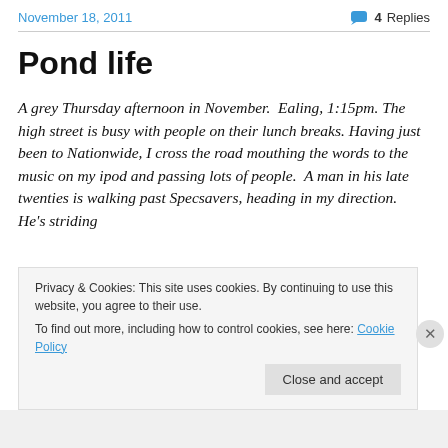November 18, 2011   4 Replies
Pond life
A grey Thursday afternoon in November.  Ealing, 1:15pm.  The high street is busy with people on their lunch breaks.  Having just been to Nationwide, I cross the road mouthing the words to the music on my ipod and passing lots of people.  A man in his late twenties is walking past Specsavers, heading in my direction.  He's striding
Privacy & Cookies: This site uses cookies. By continuing to use this website, you agree to their use.
To find out more, including how to control cookies, see here: Cookie Policy
Close and accept